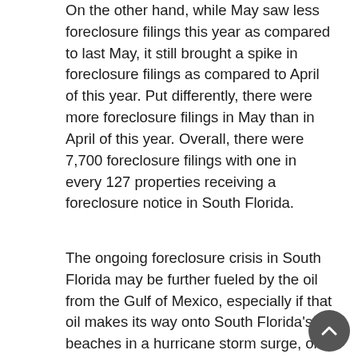On the other hand, while May saw less foreclosure filings this year as compared to last May, it still brought a spike in foreclosure filings as compared to April of this year. Put differently, there were more foreclosure filings in May than in April of this year. Overall, there were 7,700 foreclosure filings with one in every 127 properties receiving a foreclosure notice in South Florida.
The ongoing foreclosure crisis in South Florida may be further fueled by the oil from the Gulf of Mexico, especially if that oil makes its way onto South Florida's beaches in a hurricane storm surge, or other natural catastrophe. If that were to happen, many homeowners would be faced with the difficult prospect of having to sell depressed property in a region that is beset by natural catastrophe.